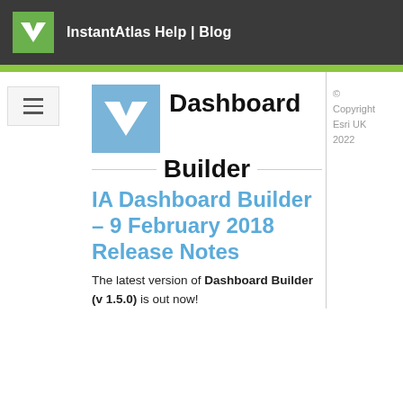InstantAtlas Help | Blog
Dashboard Builder
IA Dashboard Builder – 9 February 2018 Release Notes
© Copyright Esri UK 2022
The latest version of Dashboard Builder (v 1.5.0) is out now!